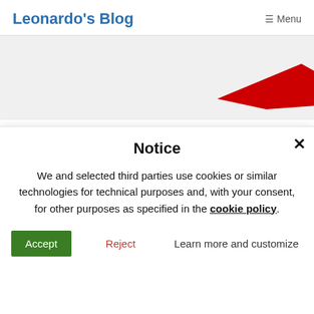Leonardo's Blog   ≡ Menu
[Figure (screenshot): Partial website background with a red angular shape visible in the upper right area]
Notice
We and selected third parties use cookies or similar technologies for technical purposes and, with your consent, for other purposes as specified in the cookie policy.
Accept   Reject   Learn more and customize